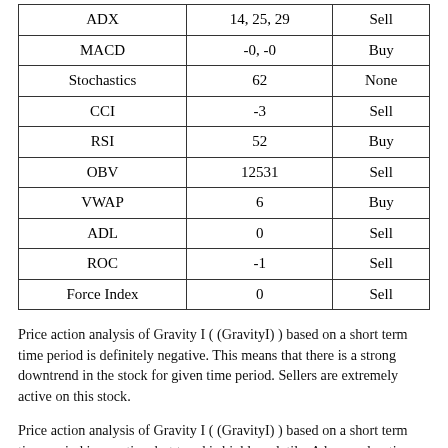| ADX | 14, 25, 29 | Sell |
| MACD | -0, -0 | Buy |
| Stochastics | 62 | None |
| CCI | -3 | Sell |
| RSI | 52 | Buy |
| OBV | 12531 | Sell |
| VWAP | 6 | Buy |
| ADL | 0 | Sell |
| ROC | -1 | Sell |
| Force Index | 0 | Sell |
Price action analysis of Gravity I ( (GravityI) ) based on a short term time period is definitely negative. This means that there is a strong downtrend in the stock for given time period. Sellers are extremely active on this stock.
Price action analysis of Gravity I ( (GravityI) ) based on a short term time period is negative, but trend is highly volatile. A longer duration price action analysis might give a better picture of the trend in this stock.
Price action analysis of Gravity I ( (GravityI) ) based on a short